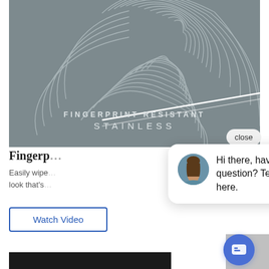[Figure (photo): Product image showing fingerprint resistant stainless steel surface with a fingerprint graphic and diagonal white stripe, with text overlay reading FINGERPRINT RESISTANT STAINLESS]
close
Fingerp… (Fingerprint Resistant Stainless)
Easily wipe… look that's…
[Figure (screenshot): Chat popup with avatar photo of a woman and text: Hi there, have a question? Text us here.]
Hi there, have a question? Text us here.
Watch Video
[Figure (screenshot): Blue chat icon button with message bubble icon]